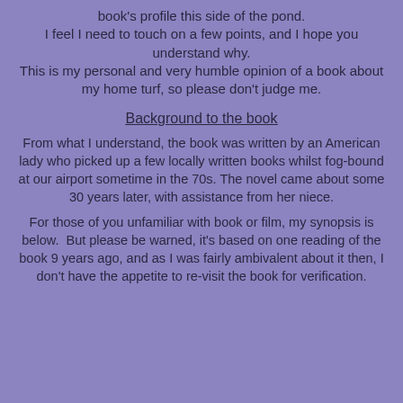book's profile this side of the pond.
I feel I need to touch on a few points, and I hope you understand why.
This is my personal and very humble opinion of a book about my home turf, so please don't judge me.
Background to the book
From what I understand, the book was written by an American lady who picked up a few locally written books whilst fog-bound at our airport sometime in the 70s. The novel came about some 30 years later, with assistance from her niece.
For those of you unfamiliar with book or film, my synopsis is below.  But please be warned, it's based on one reading of the book 9 years ago, and as I was fairly ambivalent about it then, I don't have the appetite to re-visit the book for verification.